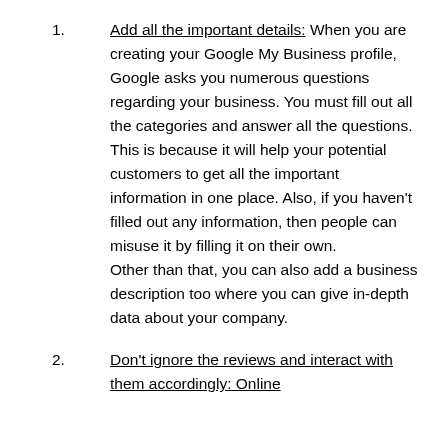1. Add all the important details: When you are creating your Google My Business profile, Google asks you numerous questions regarding your business. You must fill out all the categories and answer all the questions. This is because it will help your potential customers to get all the important information in one place. Also, if you haven't filled out any information, then people can misuse it by filling it on their own. Other than that, you can also add a business description too where you can give in-depth data about your company.
2. Don't ignore the reviews and interact with them accordingly: Online